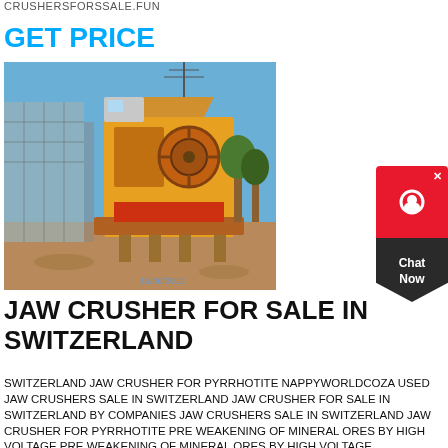CRUSHERSFORSSALE.FUN
GET PRICE
[Figure (photo): Photograph of a large jaw crusher machine installed on scaffolding at a construction/mining site, with blue sky in background. Watermark date 19/06/2012 visible.]
JAW CRUSHER FOR SALE IN SWITZERLAND
SWITZERLAND JAW CRUSHER FOR PYRRHOTITE NAPPYWORLDCOZA USED JAW CRUSHERS SALE IN SWITZERLAND JAW CRUSHER FOR SALE IN SWITZERLAND BY COMPANIES JAW CRUSHERS SALE IN SWITZERLAND JAW CRUSHER FOR PYRRHOTITE PRE WEAKENING OF MINERAL ORES BY HIGH VOLTAGE PRE WEAKENING OF MINERAL ORES BY HIGH VOLTAGE